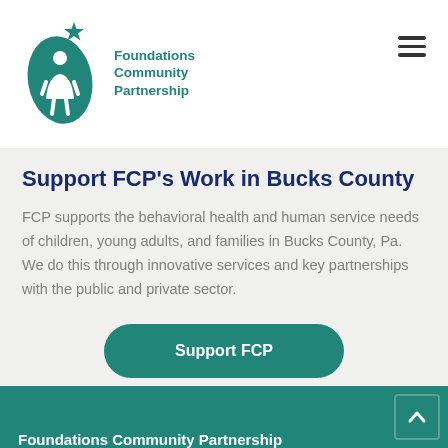[Figure (logo): Foundations Community Partnership logo — teal oval with person figure and star, with text 'Foundations Community Partnership' in teal to the right]
Support FCP’s Work in Bucks County
FCP supports the behavioral health and human service needs of children, young adults, and families in Bucks County, Pa. We do this through innovative services and key partnerships with the public and private sector.
Support FCP
Foundations Community Partnership